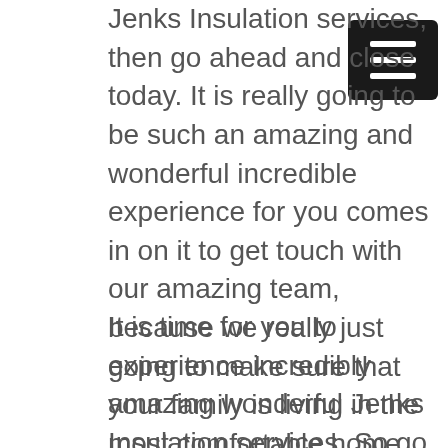Jenks Insulation services, then go ahead and close today. It is really going to be such an amazing and wonderful incredible experience for you comes in on it to get touch with our amazing team, because we really just going to make sure that your family is living in the most comfortable home you can possibly have. It is really going to be a game changer, and so you definitely should not hesitate to contact us right away so we can bring the dream into reality for you.
[Figure (other): Hamburger menu button icon — dark square with three horizontal white lines]
It is time for you to experience incredibly amazing wonderful Jenks Insulation services. So go ahead and call us. You can call us at any time by calling 918-371-[continued]...